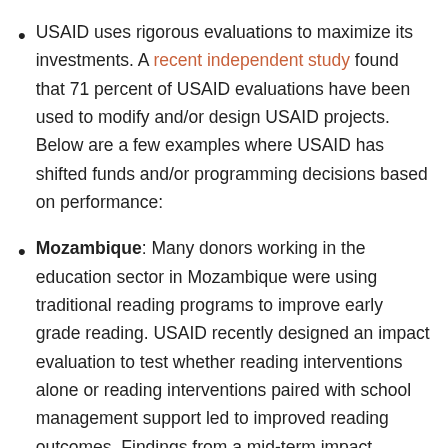USAID uses rigorous evaluations to maximize its investments. A recent independent study found that 71 percent of USAID evaluations have been used to modify and/or design USAID projects. Below are a few examples where USAID has shifted funds and/or programming decisions based on performance:
Mozambique: Many donors working in the education sector in Mozambique were using traditional reading programs to improve early grade reading. USAID recently designed an impact evaluation to test whether reading interventions alone or reading interventions paired with school management support led to improved reading outcomes. Findings from a mid-term impact evaluation found that pairing reading instruction interventions with school management support